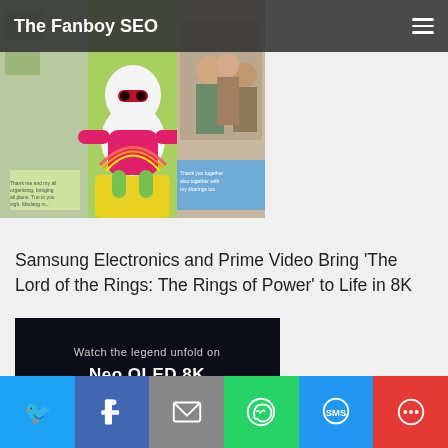The Fanboy SEO
[Figure (photo): Collage/montage image partially visible at top showing animated character and people scenes]
Samsung Electronics and Prime Video Bring 'The Lord of the Rings: The Rings of Power' to Life in 8K
[Figure (photo): Dark background image with text: Watch the legend unfold on Neo QLED 8K]
Social share buttons: Twitter, Facebook, Email, WhatsApp, SMS, More